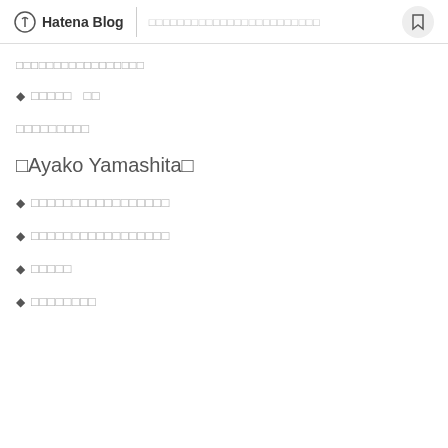Hatena Blog | □□□□□□□□□□□□□□□□□□□□□□□□
□□□□□□□□□□□□□□□□□
◆□□□□□　□□
□□□□□□□□□
□Ayako Yamashita□
◆□□□□□□□□□□□□□□□□□
◆□□□□□□□□□□□□□□□□□
◆□□□□□
◆□□□□□□□□